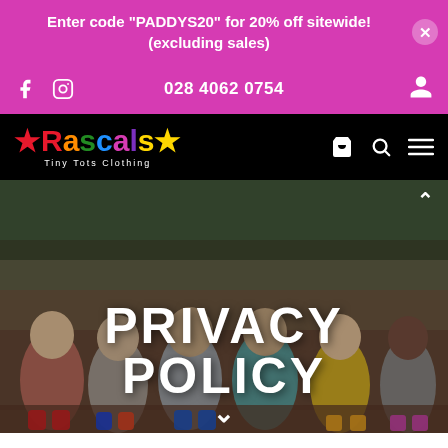Enter code "PADDYS20" for 20% off sitewide! (excluding sales)
028 4062 0754
[Figure (logo): Rascals Tiny Tots Clothing logo with multicolored letters on black background]
[Figure (photo): Six diverse children sitting together laughing and smiling, seated on a wooden bench outdoors with brick wall background]
PRIVACY POLICY